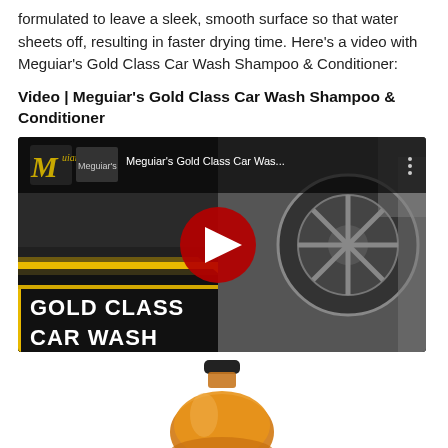formulated to leave a sleek, smooth surface so that water sheets off, resulting in faster drying time. Here's a video with Meguiar's Gold Class Car Wash Shampoo & Conditioner:
Video | Meguiar's Gold Class Car Wash Shampoo & Conditioner
[Figure (screenshot): YouTube video thumbnail for Meguiar's Gold Class Car Wash Shampoo & Conditioner. Shows the Meguiar's logo and channel name at top left, video title 'Meguiar's Gold Class Car Was...' next to it, a YouTube play button (red circle with white triangle) in the center, a car wheel being washed on the right side, and 'GOLD CLASS CAR WASH' text on a black/yellow diagonal banner at the bottom left.]
[Figure (photo): A large plastic bottle of Meguiar's Gold Class Car Wash Shampoo & Conditioner, amber/golden colored liquid, partially visible at the bottom of the page.]